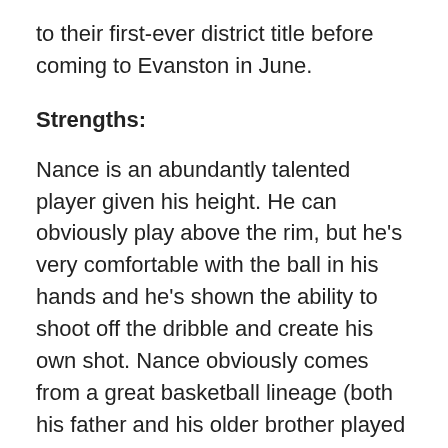to their first-ever district title before coming to Evanston in June.
Strengths:
Nance is an abundantly talented player given his height. He can obviously play above the rim, but he's very comfortable with the ball in his hands and he's shown the ability to shoot off the dribble and create his own shot. Nance obviously comes from a great basketball lineage (both his father and his older brother played or play in the NBA), but he told InsideNU he feels he can shoot the ball better than Larry Nance or Larry Nance Jr., even if he can't jump quite as high.